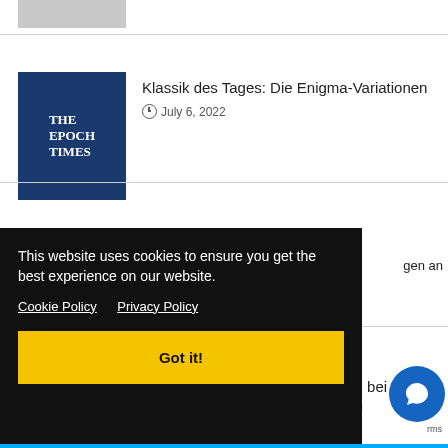[Figure (logo): Gray placeholder image thumbnail at top]
Klassik des Tages: Die Enigma-Variationen
July 6, 2022
Niederlande: Schüsse der Polizei bei Bauernprotesten – Untersuchung eingeleitet
July 6, 2022
gen an
This website uses cookies to ensure you get the best experience on our website.
Cookie Policy   Privacy Policy
Got it!